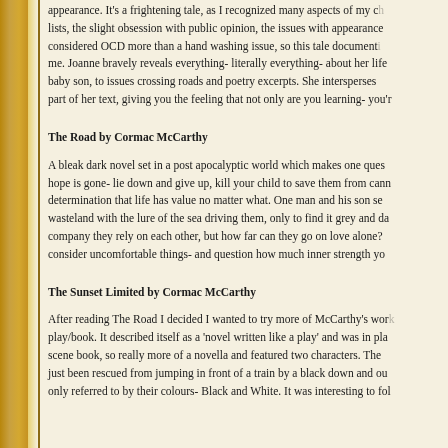appearance. It's a frightening tale, as I recognized many aspects of my c... lists, the slight obsession with public opinion, the issues with appearance... considered OCD more than a hand washing issue, so this tale document... me. Joanne bravely reveals everything- literally everything- about her life... baby son, to issues crossing roads and poetry excerpts. She intersperses... part of her text, giving you the feeling that not only are you learning- you'r...
The Road by Cormac McCarthy
A bleak dark novel set in a post apocalyptic world which makes one ques... hope is gone- lie down and give up, kill your child to save them from cann... determination that life has value no matter what. One man and his son se... wasteland with the lure of the sea driving them, only to find it grey and da... company they rely on each other, but how far can they go on love alone?... consider uncomfortable things- and question how much inner strength yo...
The Sunset Limited by Cormac McCarthy
After reading The Road I decided I wanted to try more of McCarthy's wor... play/book. It described itself as a 'novel written like a play' and was in pla... scene book, so really more of a novella and featured two characters. The... just been rescued from jumping in front of a train by a black down and ou... only referred to by their colours- Black and White. It was interesting to fol...